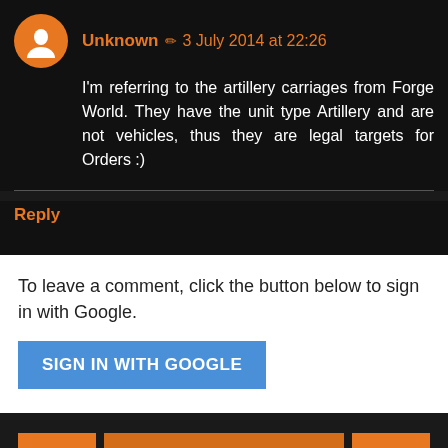Unknown ✏ 3 July 2014 at 22:26
I'm referring to the artillery carriages from Forge World. They have the unit type Artillery and are not vehicles, thus they are legal targets for Orders :)
Reply
To leave a comment, click the button below to sign in with Google.
SIGN IN WITH GOOGLE
Home
View web version
Powered by Blogger.